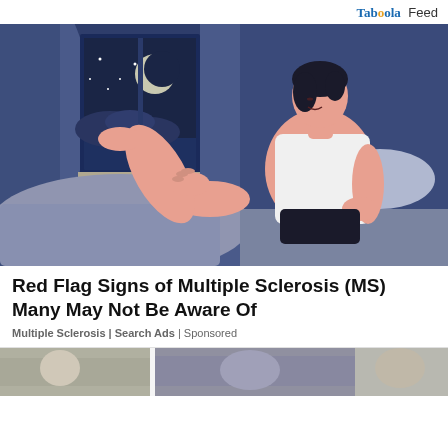Taboola Feed
[Figure (illustration): Illustration of a man sitting on a bed at night, holding his leg, with a window showing a crescent moon and clouds in the background. Blues and purples dominate with pinkish skin tones.]
Red Flag Signs of Multiple Sclerosis (MS) Many May Not Be Aware Of
Multiple Sclerosis | Search Ads | Sponsored
[Figure (photo): Partial view of a second advertisement card showing people, cropped at the bottom of the page.]